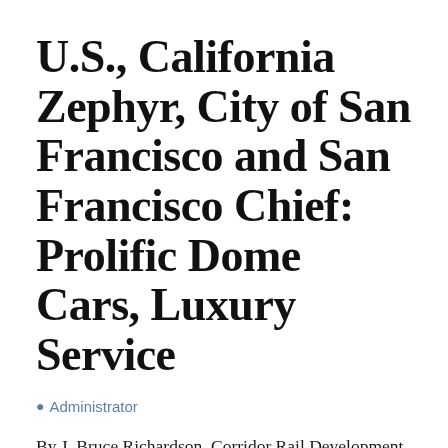U.S., California Zephyr, City of San Francisco and San Francisco Chief: Prolific Dome Cars, Luxury Service
Administrator
By J. Bruce Richardson, Corridor Rail Development Corporation; March 18, 2021 Of the three post-war rival streamliners from competing steam